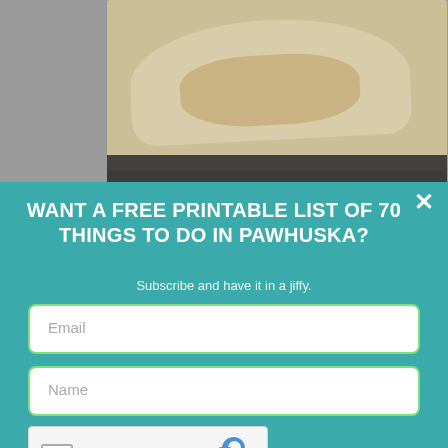[Figure (photo): Partial view of a food photo (wrap/burrito) in the background behind the modal overlay]
WANT A FREE PRINTABLE LIST OF 70 THINGS TO DO IN PAWHUSKA?
Subscribe and have it in a jiffy.
Email
Name
[Figure (other): reCAPTCHA widget with checkbox, 'I'm not a robot' text, and reCAPTCHA logo with Privacy - Terms links]
YES, PLEASE!